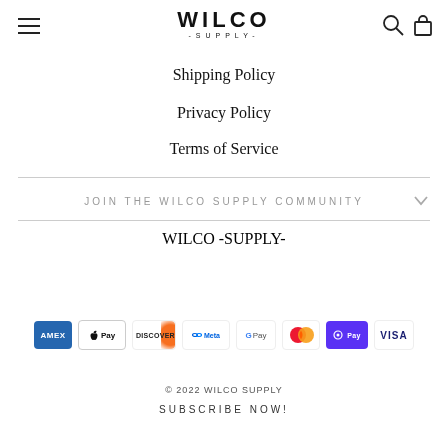WILCO -SUPPLY-
Shipping Policy
Privacy Policy
Terms of Service
JOIN THE WILCO SUPPLY COMMUNITY
[Figure (logo): Wilco Supply logo large text]
[Figure (infographic): Payment method icons: Amex, Apple Pay, Discover, Meta, Google Pay, Mastercard, Shop Pay, Visa]
© 2022 WILCO SUPPLY
SUBSCRIBE NOW!